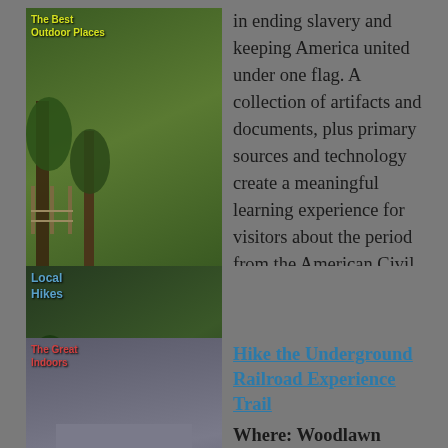[Figure (photo): Thumbnail image with forest/nature scene labeled 'The Best Outdoor Places']
in ending slavery and keeping America united under one flag. A collection of artifacts and documents, plus primary sources and technology create a meaningful learning experience for visitors about the period from the American Civil War to Civil Rights and beyond. Be sure to stop by the nearby African American Civil War Memorial, too.
[Figure (photo): Thumbnail image with forest/trail scene labeled 'Local Hikes']
[Figure (photo): Thumbnail image with building/courtyard scene labeled 'The Great Indoors']
Hike the Underground Railroad Experience Trail
Where: Woodlawn Manor Cultural Park | Sandy Spring, MD
When: Daily, sunrise to sunset
Admission: Free
A great outing with kids during